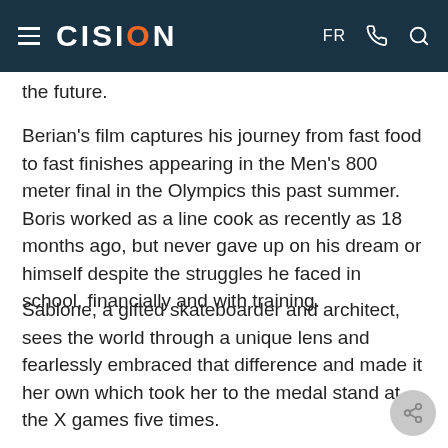CISION  FR
the future.
Berian's film captures his journey from fast food to fast finishes appearing in the Men's 800 meter final in the Olympics this past summer. Boris worked as a line cook as recently as 18 months ago, but never gave up on his dream or himself despite the struggles he faced in school, financially and with training.
Sablone, a gifted skateboarder and architect, sees the world through a unique lens and fearlessly embraced that difference and made it her own which took her to the medal stand at the X games five times.